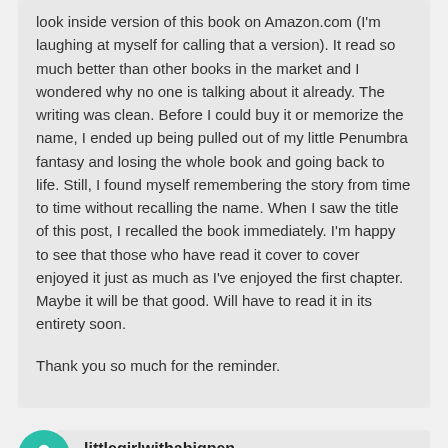look inside version of this book on Amazon.com (I'm laughing at myself for calling that a version). It read so much better than other books in the market and I wondered why no one is talking about it already. The writing was clean. Before I could buy it or memorize the name, I ended up being pulled out of my little Penumbra fantasy and losing the whole book and going back to life. Still, I found myself remembering the story from time to time without recalling the name. When I saw the title of this post, I recalled the book immediately. I'm happy to see that those who have read it cover to cover enjoyed it just as much as I've enjoyed the first chapter. Maybe it will be that good. Will have to read it in its entirety soon.
Thank you so much for the reminder.
littlegirlwithabigpen
09/01/2013 at 3:13 pm